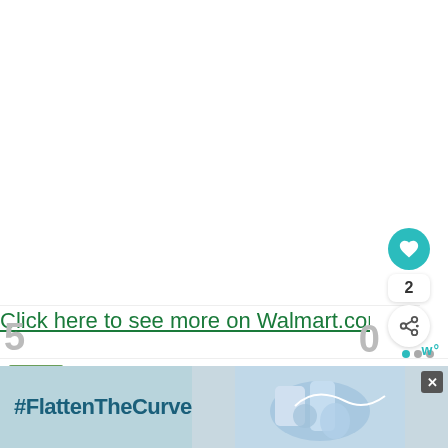[Figure (screenshot): Large white blank area representing a product or content image area]
[Figure (illustration): Heart/like button (teal circle with heart icon), count '2', share button (white circle with share icon), and navigation dots]
Click here to see more on Walmart.com
[Figure (infographic): WHAT'S NEXT panel with thumbnail image of composting and text 'Compost Pile vs Bin - Whi...']
5
0
[Figure (screenshot): Advertisement banner with #FlattenTheCurve text on blue-gray background with image of hands washing and a close button]
w°